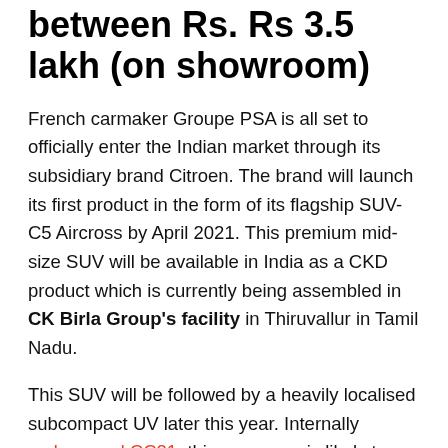between Rs. Rs 3.5 lakh (on showroom)
French carmaker Groupe PSA is all set to officially enter the Indian market through its subsidiary brand Citroen. The brand will launch its first product in the form of its flagship SUV- C5 Aircross by April 2021. This premium mid-size SUV will be available in India as a CKD product which is currently being assembled in CK Birla Group's facility in Thiruvallur in Tamil Nadu.
This SUV will be followed by a heavily localised subcompact UV later this year. Internally codenamed CC21, this crossover is likely to lock horns against the upcoming Tata HBX. Pre-launch test prototypes of the compact UV have been spotted on numerous occasions in recent past.